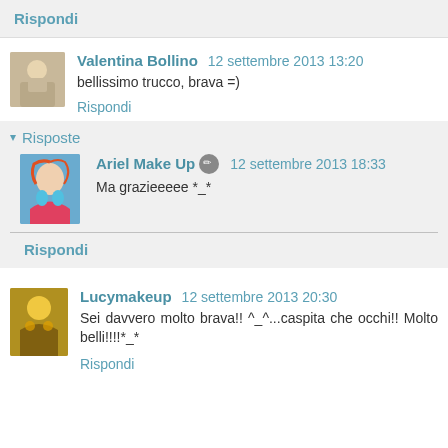Rispondi
Valentina Bollino  12 settembre 2013 13:20
bellissimo trucco, brava =)
Rispondi
Risposte
Ariel Make Up  12 settembre 2013 18:33
Ma grazieeeee *_*
Rispondi
Lucymakeup  12 settembre 2013 20:30
Sei davvero molto brava!! ^_^...caspita che occhi!! Molto belli!!!!*_*
Rispondi